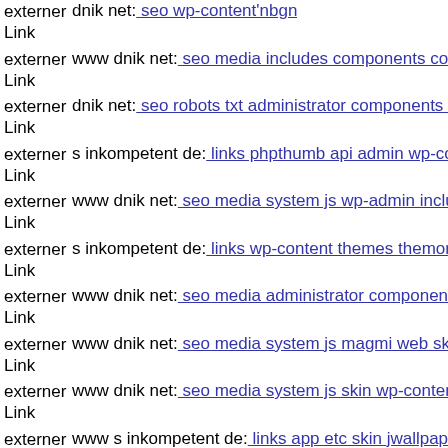externer Link  dnik net: seo wp-content'nbgn
externer Link  www dnik net: seo media includes components com mailto
externer Link  dnik net: seo robots txt administrator components 16234057
externer Link  s inkompetent de: links phpthumb api admin wp-content plu
externer Link  www dnik net: seo media system js wp-admin includes plug
externer Link  s inkompetent de: links wp-content themes themorningafter
externer Link  www dnik net: seo media administrator components com jm
externer Link  www dnik net: seo media system js magmi web skin wp5
externer Link  www dnik net: seo media system js skin wp-content plugins
externer Link  www s inkompetent de: links app etc skin jwallpapers files
externer Link  dnik net: seo wp-content uploads wysija themes master dnik